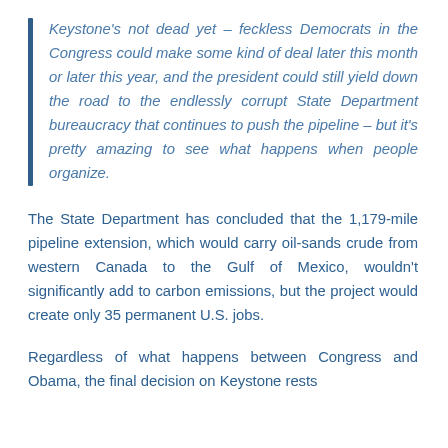Keystone's not dead yet – feckless Democrats in the Congress could make some kind of deal later this month or later this year, and the president could still yield down the road to the endlessly corrupt State Department bureaucracy that continues to push the pipeline – but it's pretty amazing to see what happens when people organize.
The State Department has concluded that the 1,179-mile pipeline extension, which would carry oil-sands crude from western Canada to the Gulf of Mexico, wouldn't significantly add to carbon emissions, but the project would create only 35 permanent U.S. jobs.
Regardless of what happens between Congress and Obama, the final decision on Keystone rests